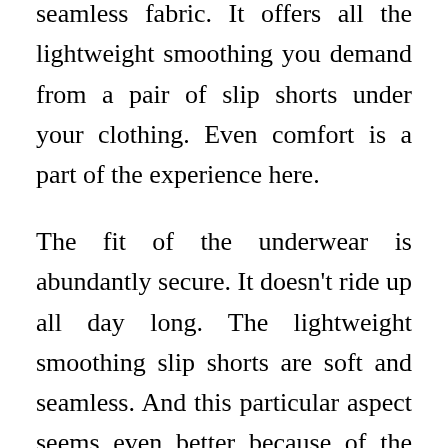seamless fabric. It offers all the lightweight smoothing you demand from a pair of slip shorts under your clothing. Even comfort is a part of the experience here.
The fit of the underwear is abundantly secure. It doesn't ride up all day long. The lightweight smoothing slip shorts are soft and seamless. And this particular aspect seems even better because of the stretchy fit. There's no doubt you can wear them underneath whatever you like. Be it pants,